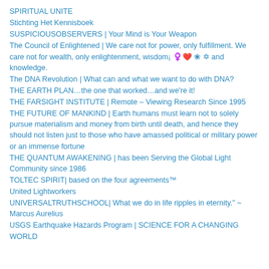SPIRITUAL UNITE
Stichting Het Kennisboek
SUSPICIOUSOBSERVERS | Your Mind is Your Weapon
The Council of Enlightened | We care not for power, only fulfillment. We care not for wealth, only enlightenment, wisdom¡ ♥ ✿ ✡ and knowledge.
The DNA Revolution | What can and what we want to do with DNA?
THE EARTH PLAN…the one that worked…and we're it!
THE FARSIGHT INSTITUTE | Remote – Viewing Research Since 1995
THE FUTURE OF MANKIND | Earth humans must learn not to solely pursue materialism and money from birth until death, and hence they should not listen just to those who have amassed political or military power or an immense fortune
THE QUANTUM AWAKENING | has been Serving the Global Light Community since 1986
TOLTEC SPIRIT| based on the four agreements™
United Lightworkers
UNIVERSALTRUTHSCHOOL| What we do in life ripples in eternity." ~ Marcus Aurelius
USGS Earthquake Hazards Program | SCIENCE FOR A CHANGING WORLD